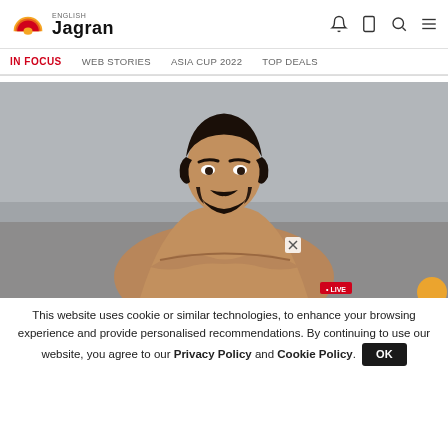English Jagran
IN FOCUS   WEB STORIES   ASIA CUP 2022   TOP DEALS
[Figure (photo): A muscular shirtless man with dark hair and beard posing against a grey background, arms crossed at the wrists in front of him, looking intensely at the camera.]
This website uses cookie or similar technologies, to enhance your browsing experience and provide personalised recommendations. By continuing to use our website, you agree to our Privacy Policy and Cookie Policy.  OK